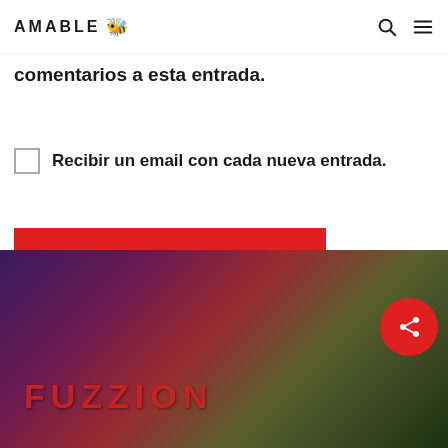AMABLE [logo icon]
comentarios a esta entrada.
Recibir un email con cada nueva entrada.
Submit Comment
Este sitio usa Akismet para reducir el spam. Aprende cómo se procesan los datos de tus comentarios.
[Figure (photo): Dark colorful background image with text reading FUZZION and a red circular share button overlay]